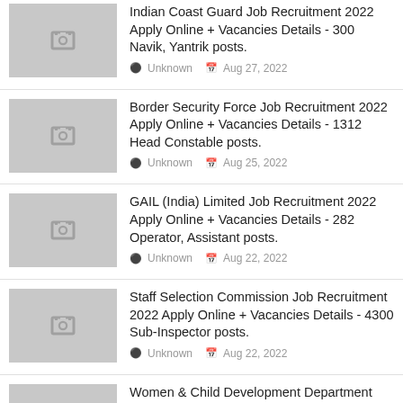Indian Coast Guard Job Recruitment 2022 Apply Online + Vacancies Details - 300 Navik, Yantrik posts.
Border Security Force Job Recruitment 2022 Apply Online + Vacancies Details - 1312 Head Constable posts.
GAIL (India) Limited Job Recruitment 2022 Apply Online + Vacancies Details - 282 Operator, Assistant posts.
Staff Selection Commission Job Recruitment 2022 Apply Online + Vacancies Details - 4300 Sub-Inspector posts.
Women & Child Development Department Job Recruitment 2022 Apply Online + Vacancies Details - 282 Anganwadi Workers, Anganwadi Helpers posts.